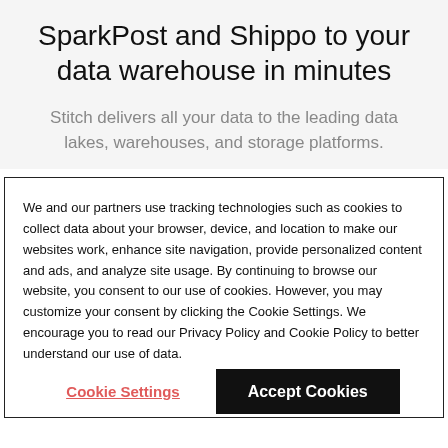SparkPost and Shippo to your data warehouse in minutes
Stitch delivers all your data to the leading data lakes, warehouses, and storage platforms.
We and our partners use tracking technologies such as cookies to collect data about your browser, device, and location to make our websites work, enhance site navigation, provide personalized content and ads, and analyze site usage. By continuing to browse our website, you consent to our use of cookies. However, you may customize your consent by clicking the Cookie Settings. We encourage you to read our Privacy Policy and Cookie Policy to better understand our use of data.
Cookie Settings
Accept Cookies